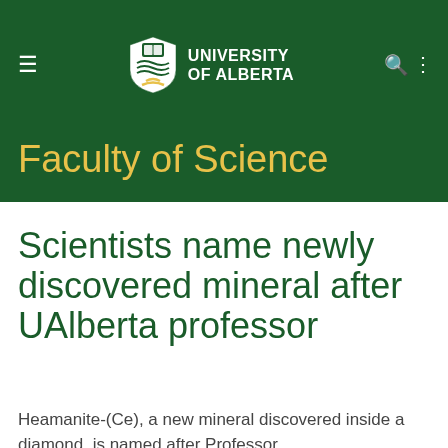UNIVERSITY OF ALBERTA
Faculty of Science
Scientists name newly discovered mineral after UAlberta professor
Heamanite-(Ce), a new mineral discovered inside a diamond, is named after Professor